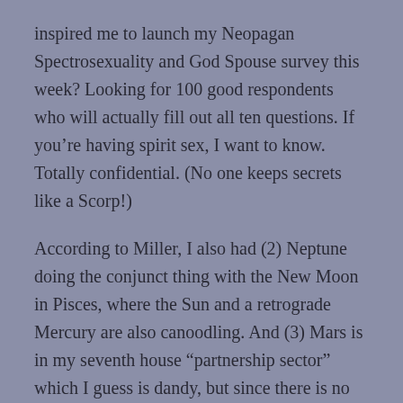inspired me to launch my Neopagan Spectrosexuality and God Spouse survey this week? Looking for 100 good respondents who will actually fill out all ten questions. If you're having spirit sex, I want to know. Totally confidential. (No one keeps secrets like a Scorp!)
According to Miller, I also had (2) Neptune doing the conjunct thing with the New Moon in Pisces, where the Sun and a retrograde Mercury are also canoodling. And (3) Mars is in my seventh house “partnership sector” which I guess is dandy, but since there is no human partner on the horizon, it seems kind of a waste. Now a literary agent–that’d be a treat! I could get serious about that!